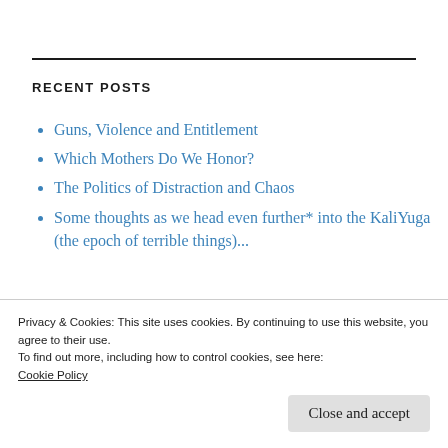RECENT POSTS
Guns, Violence and Entitlement
Which Mothers Do We Honor?
The Politics of Distraction and Chaos
Some thoughts as we head even further* into the KaliYuga (the epoch of terrible things)...
Privacy & Cookies: This site uses cookies. By continuing to use this website, you agree to their use.
To find out more, including how to control cookies, see here:
Cookie Policy
Close and accept